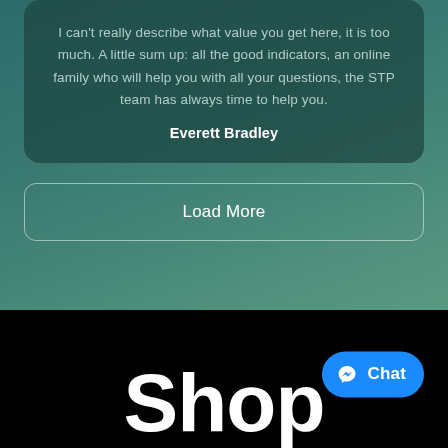I can't really describe what value you get here, it is too much. A little sum up: all the good indicators, an online family who will help you with all your questions, the STP team has always time to help you.
Everett Bradley
Load More
Shop
[Figure (other): Facebook Messenger Chat button with blue background and messenger lightning bolt icon, labeled 'Chat']